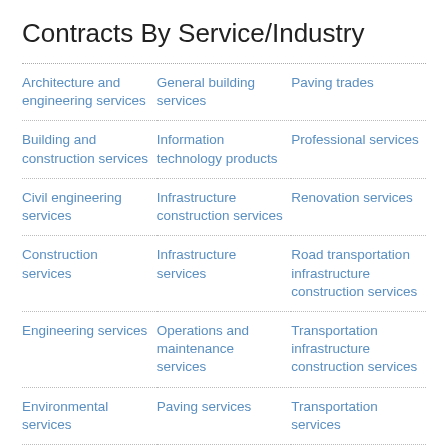Contracts By Service/Industry
| Architecture and engineering services | General building services | Paving trades |
| Building and construction services | Information technology products | Professional services |
| Civil engineering services | Infrastructure construction services | Renovation services |
| Construction services | Infrastructure services | Road transportation infrastructure construction services |
| Engineering services | Operations and maintenance services | Transportation infrastructure construction services |
| Environmental services | Paving services | Transportation services |
Learn More About GovWin IQ for SALT LAKE CITY, CITY OF (SALT LAKE) Providers